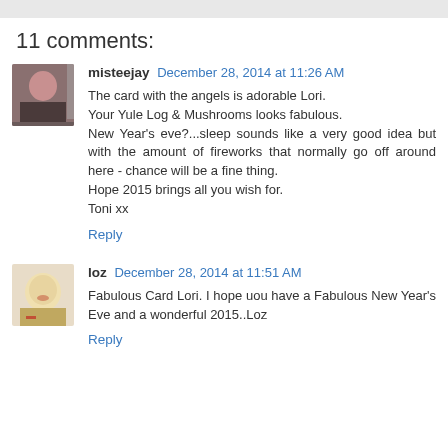11 comments:
misteejay December 28, 2014 at 11:26 AM
The card with the angels is adorable Lori.
Your Yule Log & Mushrooms looks fabulous.
New Year's eve?...sleep sounds like a very good idea but with the amount of fireworks that normally go off around here - chance will be a fine thing.
Hope 2015 brings all you wish for.
Toni xx
Reply
loz December 28, 2014 at 11:51 AM
Fabulous Card Lori. I hope uou have a Fabulous New Year's Eve and a wonderful 2015..Loz
Reply